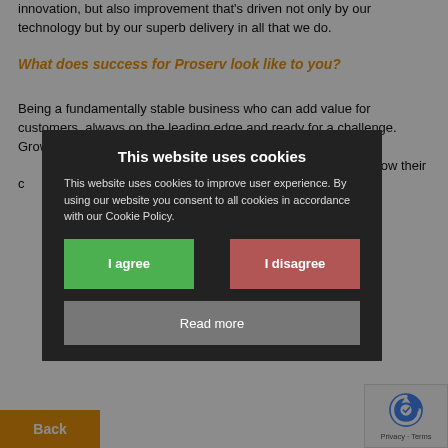innovation, but also improvement that's driven not only by our technology but by our superb delivery in all that we do.
What does success for Proserv look like to you?
Being a fundamentally stable business who can add value for customers, always on the leading edge and ready for a challenge. Growing Proserv whilst increasing our level of satisfaction, fostering a growth mindset to grow their careers.
[Figure (screenshot): Cookie consent dialog overlay with dark background. Title: 'This website uses cookies'. Body text: 'This website uses cookies to improve user experience. By using our website you consent to all cookies in accordance with our Cookie Policy.' Two buttons: 'I agree' (green) and 'I disagree' (red/brown), and a 'Read more' button (gray).]
Back